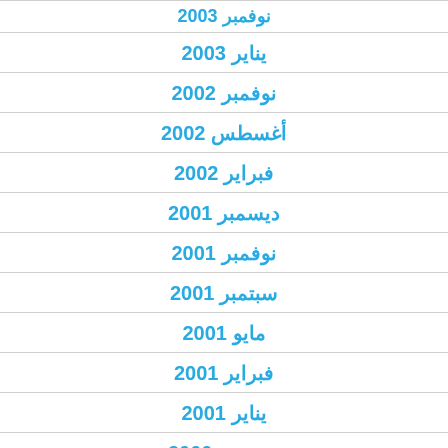نوفمبر 2003
يناير 2003
نوفمبر 2002
أغسطس 2002
فبراير 2002
ديسمبر 2001
نوفمبر 2001
سبتمبر 2001
مايو 2001
فبراير 2001
يناير 2001
ديسمبر 2000
نوفمبر 2000
أكتوبر 2000
أغسطس 2000